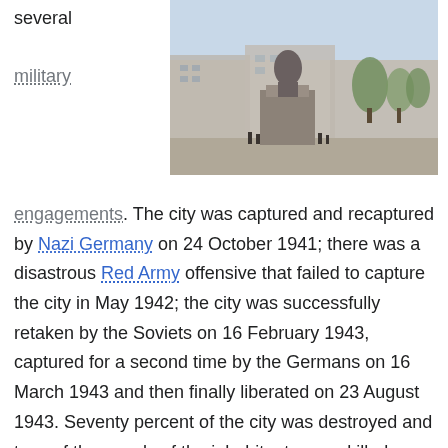several
military
[Figure (photo): Outdoor photograph of a large monument/statue in a city square with buildings and trees in the background]
engagements. The city was captured and recaptured by Nazi Germany on 24 October 1941; there was a disastrous Red Army offensive that failed to capture the city in May 1942; the city was successfully retaken by the Soviets on 16 February 1943, captured for a second time by the Germans on 16 March 1943 and then finally liberated on 23 August 1943. Seventy percent of the city was destroyed and tens of thousands of the inhabitants were killed. Kharkiv, the third largest city in the Soviet Union, was the most populous city in the Soviet Union captured by Nazis, since in the years preceding